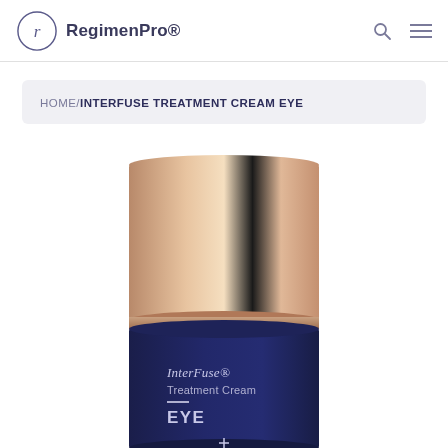RegimenPro®
HOME/INTERFUSE TREATMENT CREAM EYE
[Figure (photo): Product photo of InterFuse® Treatment Cream EYE in a dark navy blue cylindrical jar with a rose gold metallic cap. The label reads 'InterFuse® Treatment Cream EYE' with a small plus symbol at the bottom.]